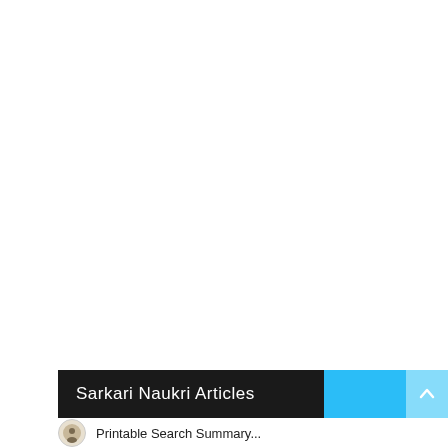Sarkari Naukri Articles
Printable Search Summary...